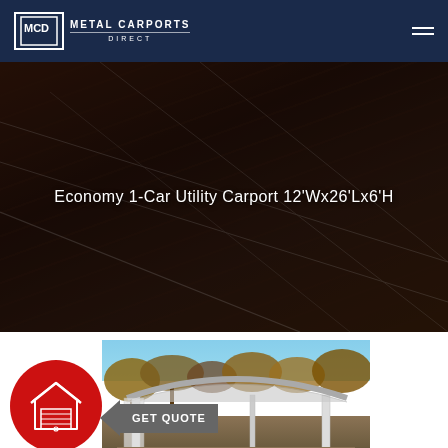Metal Carports Direct
Economy 1-Car Utility Carport 12'Wx26'Lx6'H
[Figure (photo): Photo of a metal carport structure with rounded roof, open sides, set in a yard with trees in the background. A red circular badge with a garage icon and a 'GET QUOTE' arrow button overlay the image.]